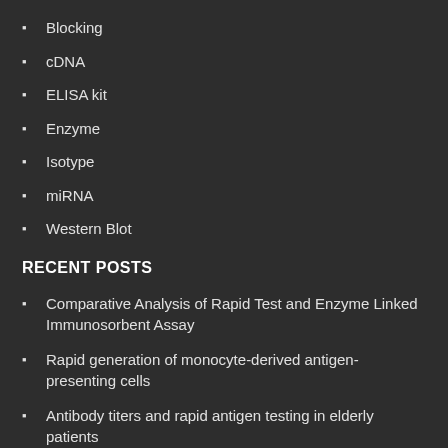Blocking
cDNA
ELISA kit
Enzyme
Isotype
miRNA
Western Blot
RECENT POSTS
Comparative Analysis of Rapid Test and Enzyme Linked Immunosorbent Assay
Rapid generation of monocyte-derived antigen-presenting cells
Antibody titers and rapid antigen testing in elderly patients